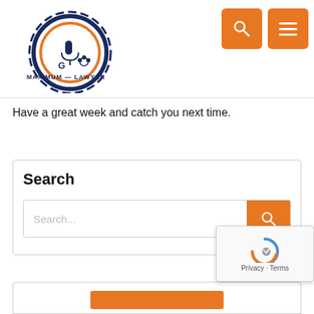[Figure (logo): Maximum Lawyer logo with gear/cog design in navy and orange]
[Figure (other): Orange search icon button (magnifying glass)]
[Figure (other): Orange hamburger menu icon button]
Have a great week and catch you next time.
Search
[Figure (other): Search input box with orange search button]
[Figure (other): reCAPTCHA overlay with Privacy - Terms text]
[Figure (other): Partial bottom content box with orange bar visible]